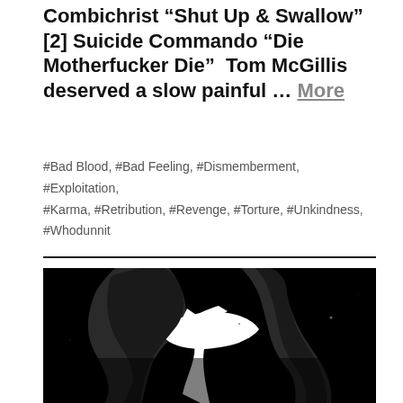Combichrist “Shut Up & Swallow” [2] Suicide Commando “Die Motherfucker Die”  Tom McGillis deserved a slow painful … More
#Bad Blood, #Bad Feeling, #Dismemberment, #Exploitation, #Karma, #Retribution, #Revenge, #Torture, #Unkindness, #Whodunnit
[Figure (photo): High-contrast black and white photo showing silhouetted figures against a dark background, with dramatic lighting creating stark shadows]